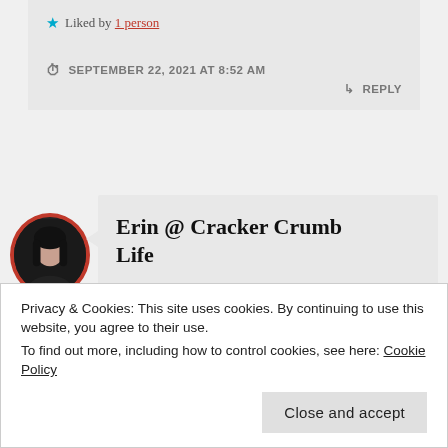★ Liked by 1 person
SEPTEMBER 22, 2021 AT 8:52 AM
↳ REPLY
Erin @ Cracker Crumb Life
Privacy & Cookies: This site uses cookies. By continuing to use this website, you agree to their use. To find out more, including how to control cookies, see here: Cookie Policy
Close and accept
little butt so much this